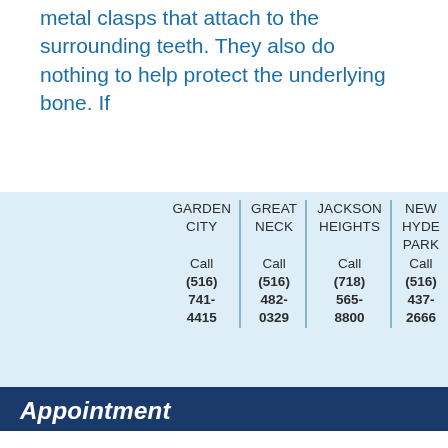teeth. The partial denture may also use metal clasps that attach to the surrounding teeth. They also do nothing to help protect the underlying bone. If
| GARDEN CITY | GREAT NECK | JACKSON HEIGHTS | NEW HYDE PARK |
| --- | --- | --- | --- |
| Call | Call | Call | Call |
| (516) 741-4415 | (516) 482-0329 | (718) 565-8800 | (516) 437-2666 |
Appointment
Find out if dental implants are right for you! Contact one of our convenient locations to schedule your consultation appointment today.